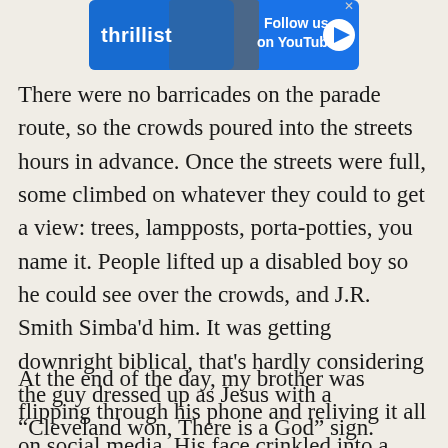[Figure (screenshot): Thrillist advertisement banner with 'Follow us on YouTube' text and play button on blue background]
There were no barricades on the parade route, so the crowds poured into the streets hours in advance. Once the streets were full, some climbed on whatever they could to get a view: trees, lampposts, porta-potties, you name it. People lifted up a disabled boy so he could see over the crowds, and J.R. Smith Simba'd him. It was getting downright biblical, that's hardly considering the guy dressed up as Jesus with a “Cleveland won, There is a God” sign.
At the end of the day, my brother was flipping through his phone and reliving it all on social media. His face crinkled into a smile.